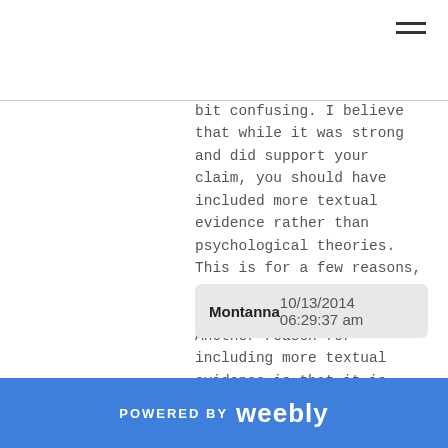[hamburger menu icon]
bit confusing. I believe that while it was strong and did support your claim, you should have included more textual evidence rather than psychological theories. This is for a few reasons, one being that it would be a little easier to follow. Another reason for including more textual evidence is that it is more relevant to this response. It therefore would have provided your claim with stronger evidence. Other than that, I love how you were able to make inferences about Maggie, as well as how you used a formal tone to address your audience. All in all, I believe you did an awesome job with this! Great work!
Montanna    10/13/2014 06:29:37 am
POWERED BY weebly